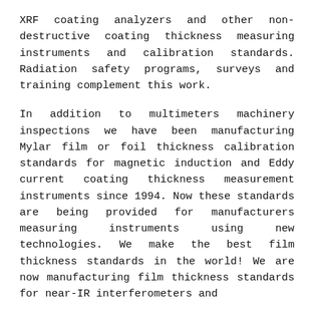XRF coating analyzers and other non-destructive coating thickness measuring instruments and calibration standards. Radiation safety programs, surveys and training complement this work.
In addition to multimeters machinery inspections we have been manufacturing Mylar film or foil thickness calibration standards for magnetic induction and Eddy current coating thickness measurement instruments since 1994. Now these standards are being provided for manufacturers measuring instruments using new technologies. We make the best film thickness standards in the world! We are now manufacturing film thickness standards for near-IR interferometers and